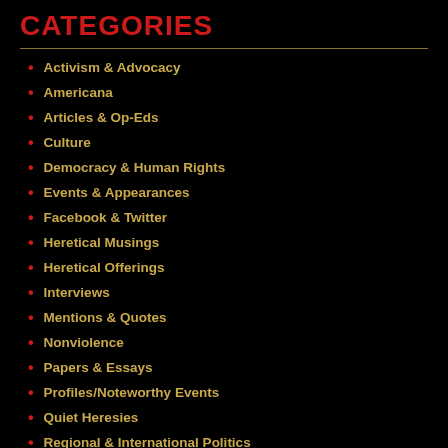CATEGORIES
Activism & Advocacy
Americana
Articles & Op-Eds
Culture
Democracy & Human Rights
Events & Appearances
Facebook & Twitter
Heretical Musings
Heretical Offerings
Interviews
Mentions & Quotes
Nonviolence
Papers & Essays
Profiles/Noteworthy Events
Quiet Heresies
Regional & International Politics
Religion
Society
Sociopolitical Observations
Syrian Politics
Terrorism
Tharwa News